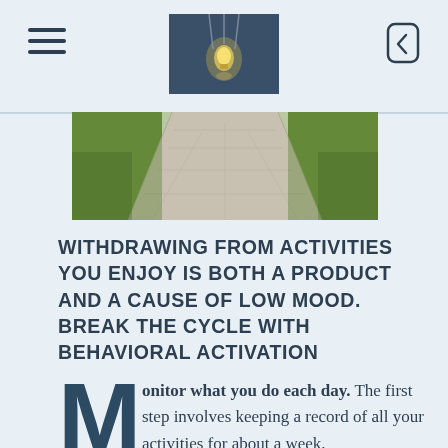[Header with hamburger menu, lightbulb image, and back arrow]
[Figure (photo): Outdoor pathway with green grass on sides, paved walkway receding into distance]
WITHDRAWING FROM ACTIVITIES YOU ENJOY IS BOTH A PRODUCT AND A CAUSE OF LOW MOOD. BREAK THE CYCLE WITH BEHAVIORAL ACTIVATION
Monitor what you do each day. The first step involves keeping a record of all your activities for about a week. There are free worksheets available online, but you can make one yourself. Draw up an empty timetable, splitting each day into hourly slots